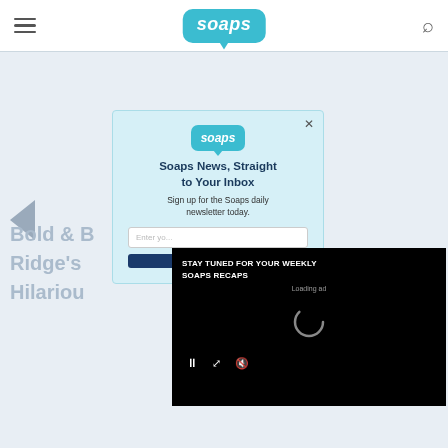soaps
[Figure (screenshot): Soaps.com website screenshot showing newsletter signup modal overlay and a video player overlay with 'STAY TUNED FOR YOUR WEEKLY SOAPS RECAPS' on black background. Partial article title visible: 'Bold & B... Ridge's... Hilariou...']
Soaps News, Straight to Your Inbox
Sign up for the Soaps daily newsletter today.
STAY TUNED FOR YOUR WEEKLY SOAPS RECAPS
Loading ad
Bold & B... Ridge's... Hilariou...